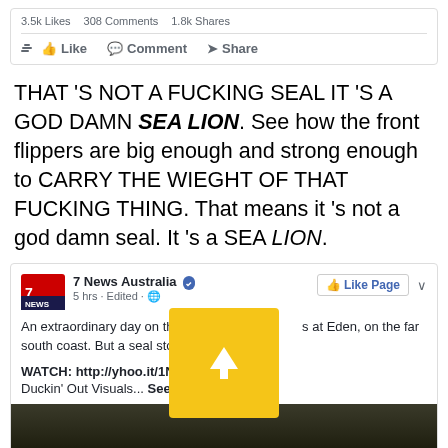[Figure (screenshot): Facebook post action bar showing 3.5k Likes, 308 Comments, 1.8k Shares with Like, Comment, Share buttons]
THAT 'S NOT A FUCKING SEAL IT 'S A GOD DAMN SEA LION. See how the front flippers are big enough and strong enough to CARRY THE WIEGHT OF THAT FUCKING THING. That means it 's not a god damn seal. It 's a SEA LION.
[Figure (screenshot): 7 News Australia Facebook post: An extraordinary day on the water for w[hale watchers] at Eden, on the far south coast. But a seal stole the show. WATCH: http://yhoo.it/1NFcAiJ Duckin' Out Visuals... See More. Yellow upload overlay arrow on top of post.]